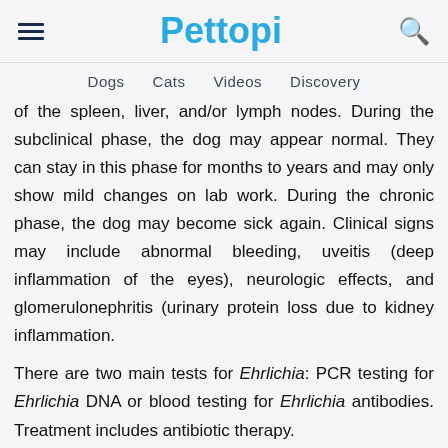Pettopi
Dogs   Cats   Videos   Discovery
of the spleen, liver, and/or lymph nodes. During the subclinical phase, the dog may appear normal. They can stay in this phase for months to years and may only show mild changes on lab work. During the chronic phase, the dog may become sick again. Clinical signs may include abnormal bleeding, uveitis (deep inflammation of the eyes), neurologic effects, and glomerulonephritis (urinary protein loss due to kidney inflammation.
There are two main tests for Ehrlichia: PCR testing for Ehrlichia DNA or blood testing for Ehrlichia antibodies. Treatment includes antibiotic therapy.